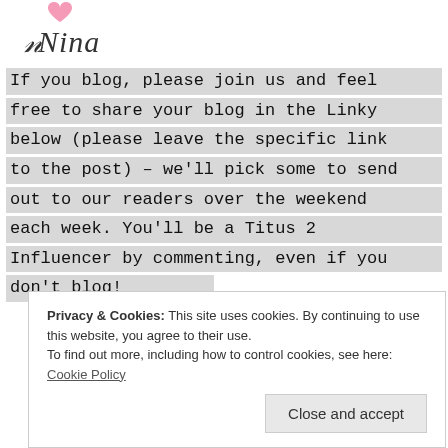[Figure (logo): Handwritten script logo reading 'Nina' with a pink heart above]
If you blog, please join us and feel free to share your blog in the Linky below (please leave the specific link to the post) – we'll pick some to send out to our readers over the weekend each week. You'll be a Titus 2 Influencer by commenting, even if you don't blog!
Privacy & Cookies: This site uses cookies. By continuing to use this website, you agree to their use.
To find out more, including how to control cookies, see here: Cookie Policy
Close and accept